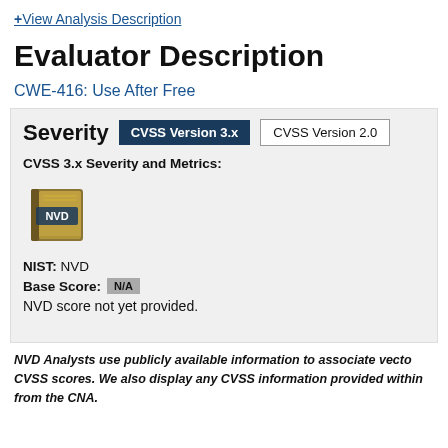+View Analysis Description
Evaluator Description
CWE-416: Use After Free
Severity   CVSS Version 3.x   CVSS Version 2.0
CVSS 3.x Severity and Metrics:
[Figure (logo): NVD book logo with gold/brown book and NVD text in white]
NIST: NVD
Base Score: N/A
NVD score not yet provided.
NVD Analysts use publicly available information to associate vectors and CVSS scores. We also display any CVSS information provided within the CVE List from the CNA.